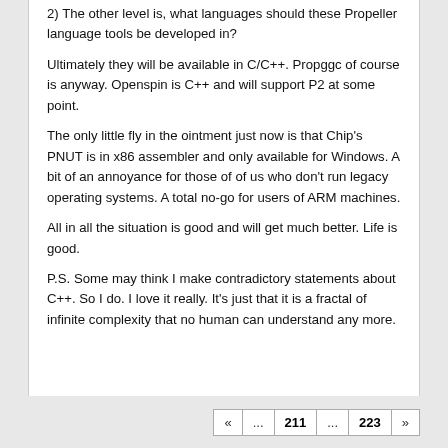2) The other level is, what languages should these Propeller language tools be developed in?
Ultimately they will be available in C/C++. Propggc of course is anyway. Openspin is C++ and will support P2 at some point.
The only little fly in the ointment just now is that Chip's PNUT is in x86 assembler and only available for Windows. A bit of an annoyance for those of of us who don't run legacy operating systems. A total no-go for users of ARM machines.
All in all the situation is good and will get much better. Life is good.
P.S. Some may think I make contradictory statements about C++. So I do. I love it really. It's just that it is a fractal of infinite complexity that no human can understand any more.
« ... 211 ... 223 »